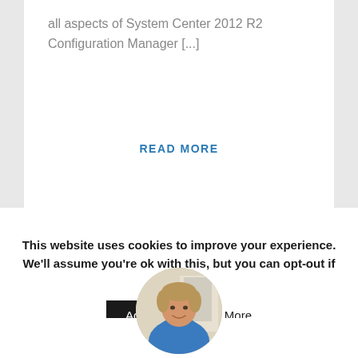all aspects of System Center 2012 R2 Configuration Manager [...]
READ MORE
[Figure (other): Social media share icons row: Facebook, Twitter, Google+, LinkedIn, Tumblr — each in a light grey circle]
[Figure (photo): Circular avatar/profile photo of a man wearing a blue jacket, smiling, with a white background behind him]
This website uses cookies to improve your experience. We'll assume you're ok with this, but you can opt-out if you wish.
Accept
Read More